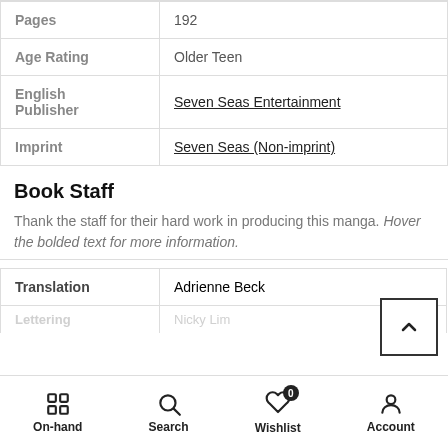|  |  |
| --- | --- |
| Pages | 192 |
| Age Rating | Older Teen |
| English Publisher | Seven Seas Entertainment |
| Imprint | Seven Seas (Non-imprint) |
Book Staff
Thank the staff for their hard work in producing this manga. Hover the bolded text for more information.
|  |  |
| --- | --- |
| Translation | Adrienne Beck |
| Lettering | Nicky Lim |
On-hand  Search  Wishlist  Account